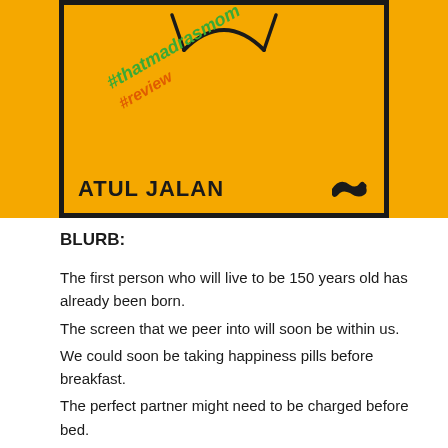[Figure (illustration): Book cover on yellow background showing hashtags #thatmadrasmom and #review in colorful italic text, author name ATUL JALAN in bold black, and a bird icon, on a yellow cover with black border]
BLURB:
The first person who will live to be 150 years old has already been born.
The screen that we peer into will soon be within us.
We could soon be taking happiness pills before breakfast.
The perfect partner might need to be charged before bed.